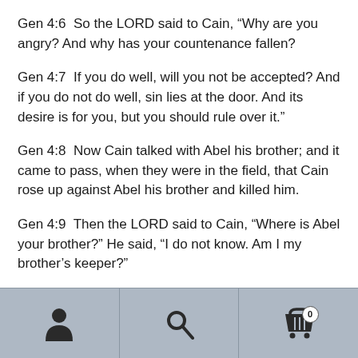Gen 4:6  So the LORD said to Cain, “Why are you angry? And why has your countenance fallen?
Gen 4:7  If you do well, will you not be accepted? And if you do not do well, sin lies at the door. And its desire is for you, but you should rule over it.”
Gen 4:8  Now Cain talked with Abel his brother; and it came to pass, when they were in the field, that Cain rose up against Abel his brother and killed him.
Gen 4:9  Then the LORD said to Cain, “Where is Abel your brother?” He said, “I do not know. Am I my brother’s keeper?”
[navigation bar with person, search, and cart icons]